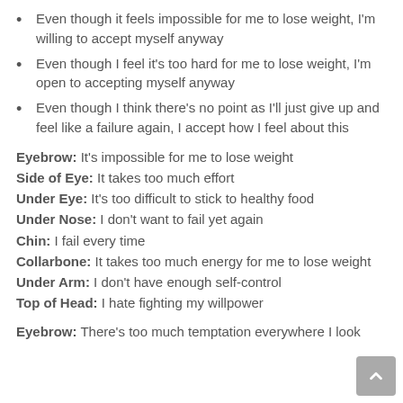Even though it feels impossible for me to lose weight, I'm willing to accept myself anyway
Even though I feel it's too hard for me to lose weight, I'm open to accepting myself anyway
Even though I think there's no point as I'll just give up and feel like a failure again, I accept how I feel about this
Eyebrow: It's impossible for me to lose weight
Side of Eye: It takes too much effort
Under Eye: It's too difficult to stick to healthy food
Under Nose: I don't want to fail yet again
Chin: I fail every time
Collarbone: It takes too much energy for me to lose weight
Under Arm: I don't have enough self-control
Top of Head: I hate fighting my willpower
Eyebrow: There's too much temptation everywhere I look